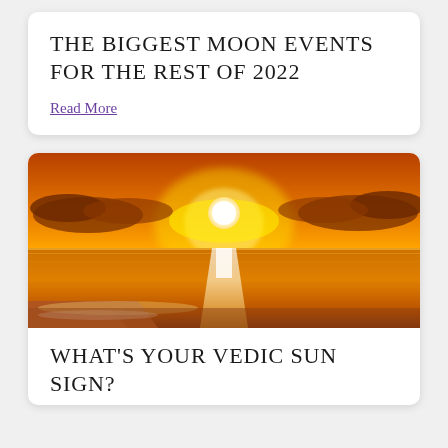THE BIGGEST MOON EVENTS FOR THE REST OF 2022
Read More
[Figure (photo): Vivid golden sunset over the ocean, with bright white sun near the horizon, silhouetted clouds, and reflection of sunlight on calm water with gentle waves on a beach.]
WHAT'S YOUR VEDIC SUN SIGN?